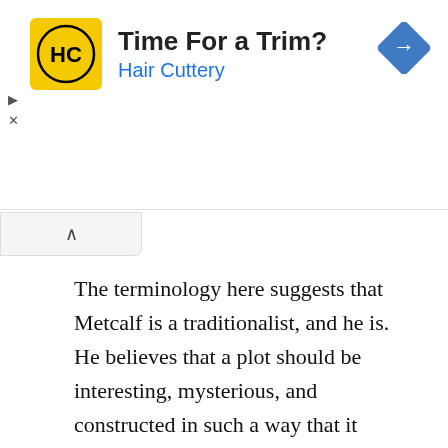[Figure (infographic): Advertisement banner for Hair Cuttery with yellow logo, bold title 'Time For a Trim?', blue subtitle 'Hair Cuttery', and a blue diamond navigation icon on the right.]
The terminology here suggests that Metcalf is a traditionalist, and he is. He believes that a plot should be interesting, mysterious, and constructed in such a way that it will endure. He is concerned with the morality of his characters and their culture. His stories are generally realistic in their emphasis on the details of time and place. Above all, he is preoccupied with a traditional theme: the relationship between art and human experience. Consequently,